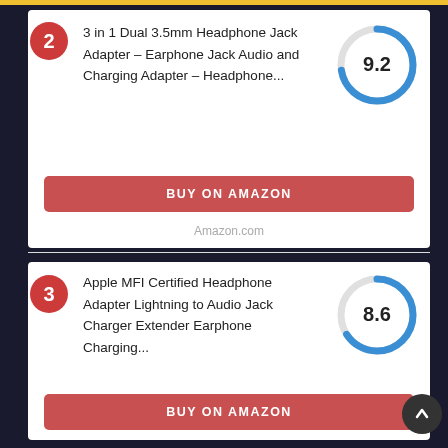2 — 3 in 1 Dual 3.5mm Headphone Jack Adapter - Earphone Jack Audio and Charging Adapter - Headphone... Score: 9.2
BUY ON AMAZON
Amazon.com
3 — Apple MFI Certified Headphone Adapter Lightning to Audio Jack Charger Extender Earphone Charging... Score: 8.6
BUY ON AMAZON